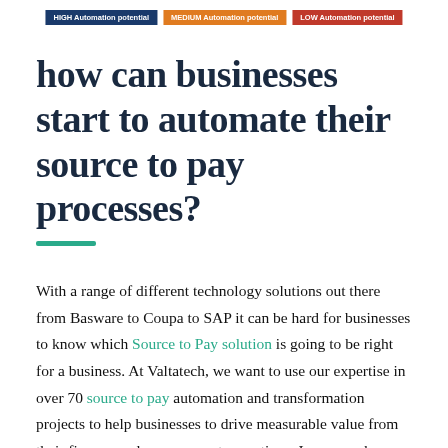[Figure (infographic): Three legend pills: HIGH Automation potential (dark blue), MEDIUM Automation potential (orange), LOW Automation potential (red)]
how can businesses start to automate their source to pay processes?
With a range of different technology solutions out there from Basware to Coupa to SAP it can be hard for businesses to know which Source to Pay solution is going to be right for a business. At Valtatech, we want to use our expertise in over 70 source to pay automation and transformation projects to help businesses to drive measurable value from their finance and procurement operations. In our work we not only implement Source to Pay automation platforms but also work with businesses to help them understand their existing